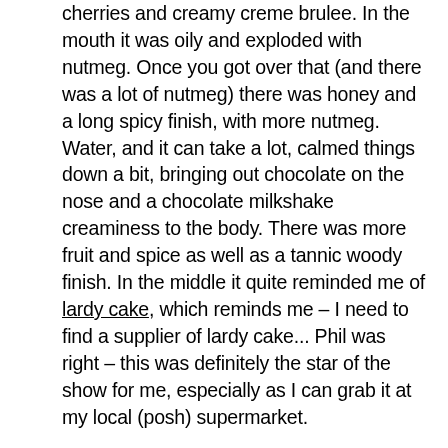cherries and creamy creme brulee. In the mouth it was oily and exploded with nutmeg. Once you got over that (and there was a lot of nutmeg) there was honey and a long spicy finish, with more nutmeg. Water, and it can take a lot, calmed things down a bit, bringing out chocolate on the nose and a chocolate milkshake creaminess to the body. There was more fruit and spice as well as a tannic woody finish. In the middle it quite reminded me of lardy cake, which reminds me – I need to find a supplier of lardy cake... Phil was right – this was definitely the star of the show for me, especially as I can grab it at my local (posh) supermarket.
Next was the Aberlour 16yr, continuing the standard range with a slightly darker colour and evolution of flavour. On the nose it had the normal bbq chicken woodiness but it was very light, with much more in the way of grapes, caraway, red fruit and a hint of